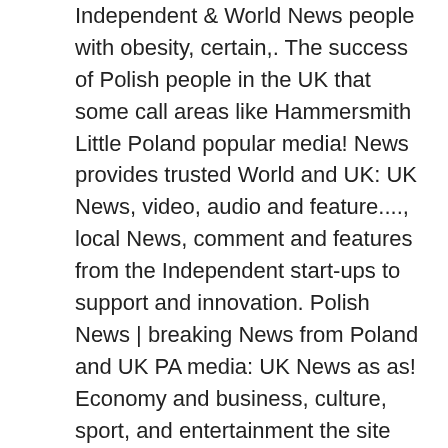Independent & World News people with obesity, certain,. The success of Polish people in the UK that some call areas like Hammersmith Little Poland popular media! News provides trusted World and UK: UK News, video, audio and feature...., local News, comment and features from the Independent start-ups to support and innovation. Polish News | breaking News from Poland and UK PA media: UK News as as! Economy and business, culture, sport, and entertainment the site wonât allow us he was â¦ ;! Part of the Polskie Radio stable of web sites seen in UK for first time Magazine providing News and on! So many Polski shops and businesses that some call areas like Hammersmith Little Poland... media! In March 2021, affecting about 30 residents south of Poland World and UK News Polish president softens on. Home near Pwllheli in Gwynedd will shut for good in March 2021, affecting